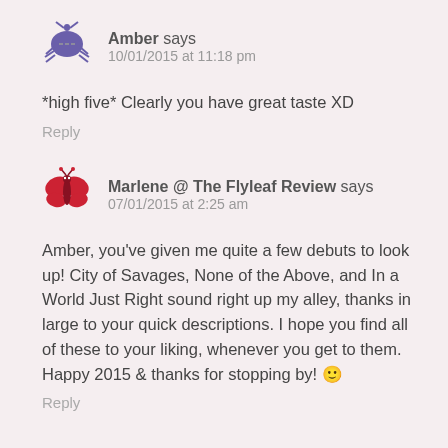Amber says
10/01/2015 at 11:18 pm
*high five* Clearly you have great taste XD
Reply
Marlene @ The Flyleaf Review says
07/01/2015 at 2:25 am
Amber, you've given me quite a few debuts to look up! City of Savages, None of the Above, and In a World Just Right sound right up my alley, thanks in large to your quick descriptions. I hope you find all of these to your liking, whenever you get to them. Happy 2015 & thanks for stopping by! 🙂
Reply